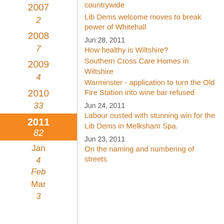countrywide
Lib Dems welcome moves to break power of Whitehall
Jun 28, 2011
How healthy is Wiltshire?
Southern Cross Care Homes in Wiltshire
Warminster - application to turn the Old Fire Station into wine bar refused
Jun 24, 2011
Labour ousted with stunning win for the Lib Dems in Melksham Spa.
Jun 23, 2011
On the naming and numbering of streets